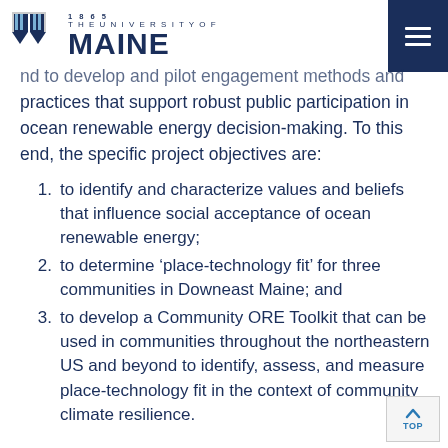1865 THE UNIVERSITY OF MAINE
nd to develop and pilot engagement methods and practices that support robust public participation in ocean renewable energy decision-making. To this end, the specific project objectives are:
1. to identify and characterize values and beliefs that influence social acceptance of ocean renewable energy;
2. to determine ‘place-technology fit’ for three communities in Downeast Maine; and
3. to develop a Community ORE Toolkit that can be used in communities throughout the northeastern US and beyond to identify, assess, and measure place-technology fit in the context of community climate resilience.